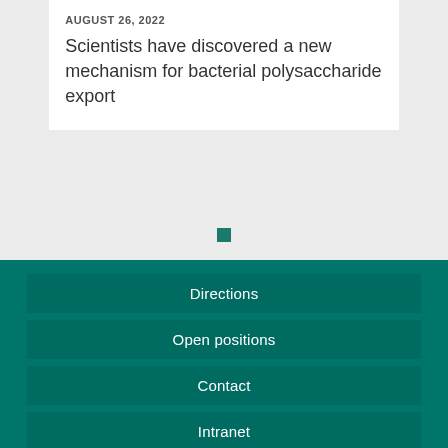AUGUST 26, 2022
Scientists have discovered a new mechanism for bacterial polysaccharide export
Directions
Open positions
Contact
Intranet